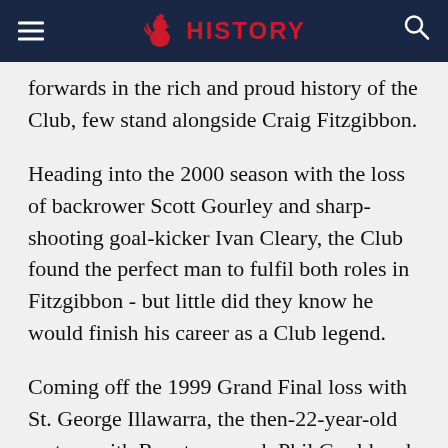HISTORY
forwards in the rich and proud history of the Club, few stand alongside Craig Fitzgibbon.
Heading into the 2000 season with the loss of backrower Scott Gourley and sharp-shooting goal-kicker Ivan Cleary, the Club found the perfect man to fulfil both roles in Fitzgibbon - but little did they know he would finish his career as a Club legend.
Coming off the 1999 Grand Final loss with St. George Illawarra, the then-22-year-old met up with Roosters coach Phil Gould and CEO Bernie Gurr, who convinced the young forward that a